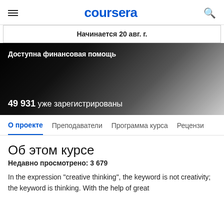coursera
Начинается 20 авг. г.
Доступна финансовая помощь
49 931 уже зарегистрированы
О проекте   Преподаватели   Программа курса   Рецензи
Об этом курсе
Недавно просмотрено: 3 679
In the expression "creative thinking", the keyword is not creativity; the keyword is thinking. With the help of great